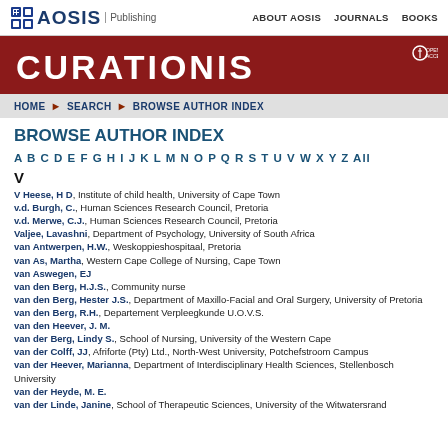AOSIS Publishing | ABOUT AOSIS | JOURNALS | BOOKS
CURATIONIS
HOME ▶ SEARCH ▶ BROWSE AUTHOR INDEX
BROWSE AUTHOR INDEX
A B C D E F G H I J K L M N O P Q R S T U V W X Y Z All
V
V Heese, H D, Institute of child health, University of Cape Town
v.d. Burgh, C., Human Sciences Research Council, Pretoria
v.d. Merwe, C.J., Human Sciences Research Council, Pretoria
Valjee, Lavashni, Department of Psychology, University of South Africa
van Antwerpen, H.W., Weskoppieshospitaal, Pretoria
van As, Martha, Western Cape College of Nursing, Cape Town
van Aswegen, EJ
van den Berg, H.J.S., Community nurse
van den Berg, Hester J.S., Department of Maxillo-Facial and Oral Surgery, University of Pretoria
van den Berg, R.H., Departement Verpleegkunde U.O.V.S.
van den Heever, J. M.
van der Berg, Lindy S., School of Nursing, University of the Western Cape
van der Colff, JJ, Afriforte (Pty) Ltd., North-West University, Potchefstroom Campus
van der Heever, Marianna, Department of Interdisciplinary Health Sciences, Stellenbosch University
van der Heyde, M. E.
van der Linde, Janine, School of Therapeutic Sciences, University of the Witwatersrand